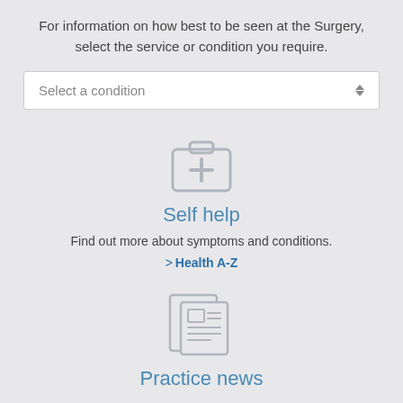For information on how best to be seen at the Surgery, select the service or condition you require.
[Figure (screenshot): A dropdown selector box with placeholder text 'Select a condition' and up/down arrow icons on the right]
[Figure (illustration): A grey medical first aid kit / briefcase icon with a plus/cross symbol]
Self help
Find out more about symptoms and conditions.
> Health A-Z
[Figure (illustration): A grey newspaper/document icon with lines representing text]
Practice news